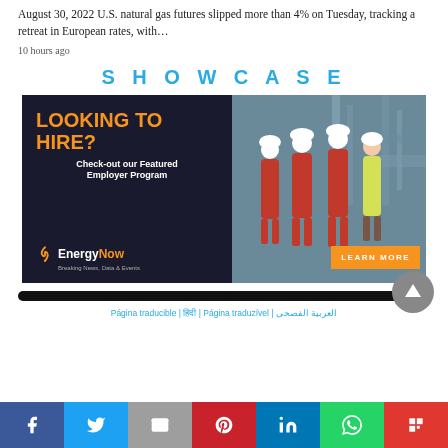August 30, 2022 U.S. natural gas futures slipped more than 4% on Tuesday, tracking a retreat in European rates, with…
10 hours ago
SHOWCASE
[Figure (infographic): EnergyNow advertisement banner: 'LOOKING TO HIRE? Check-out our Featured Employer Program' with workers in red coveralls and hard hats, EnergyNow logo, and orange LEARN MORE button]
Página traducible | हिंदी | Página traduzível | العربية الفصحى
[Figure (infographic): Social sharing bar with icons for Facebook, Twitter, Email, Pinterest, LinkedIn, WhatsApp, and Flipboard]